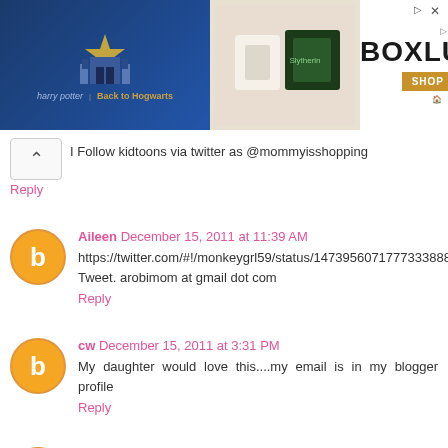[Figure (photo): Advertisement banner for BoxLunch featuring Harry Potter merchandise with castle illustration, folded clothing items, and green products. BoxLunch logo with 'SHOP NOW' button on right side.]
Follow kidtoons via twitter as @mommyisshopping
Reply
Aileen December 15, 2011 at 11:39 AM
https://twitter.com/#!/monkeygrl59/status/14739560717733388 80. Tweet. arobimom at gmail dot com
Reply
cw December 15, 2011 at 3:31 PM
My daughter would love this....my email is in my blogger profile
Reply
Andrea Kruse December 15, 2011 at 3:38 PM